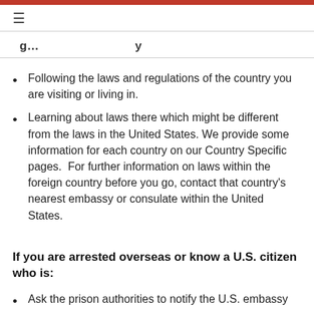≡
g... ...y
Following the laws and regulations of the country you are visiting or living in.
Learning about laws there which might be different from the laws in the United States. We provide some information for each country on our Country Specific pages.  For further information on laws within the foreign country before you go, contact that country's nearest embassy or consulate within the United States.
If you are arrested overseas or know a U.S. citizen who is:
Ask the prison authorities to notify the U.S. embassy